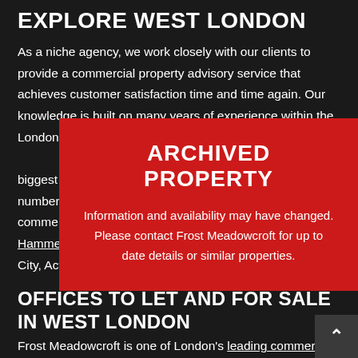EXPLORE WEST LONDON
As a niche agency, we work closely with our clients to provide a commercial property advisory service that achieves customer satisfaction time and time again. Our knowledge is built on many years of experience within the London property industry which is why we biggest number comme Hamme City, Acton and much more.
[Figure (infographic): Red 'ARCHIVED PROPERTY' overlay banner with text: 'Information and availability may have changed. Please contact Frost Meadowcroft for up to date details or similar properties.']
OFFICES TO LET AND FOR SALE IN WEST LONDON
Frost Meadowcroft is one of London's leading commercial property agents, with the largest selection and widest choice of